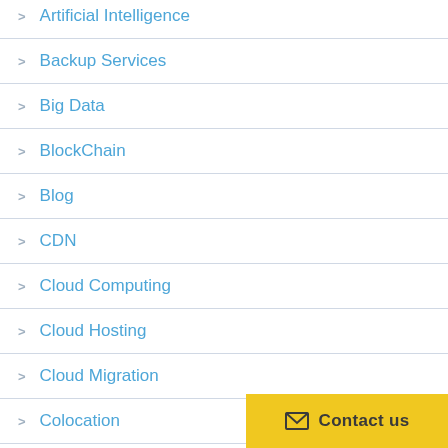> Artificial Intelligence
> Backup Services
> Big Data
> BlockChain
> Blog
> CDN
> Cloud Computing
> Cloud Hosting
> Cloud Migration
> Colocation
Contact us